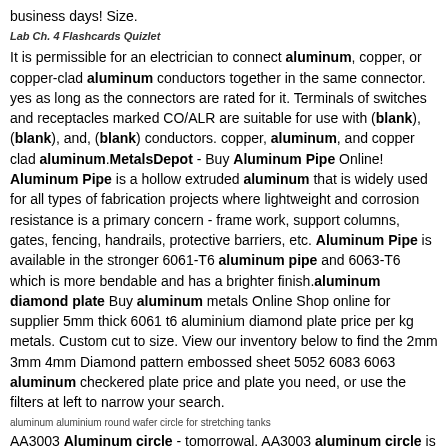business days! Size.
Lab Ch. 4 Flashcards Quizlet
It is permissible for an electrician to connect aluminum, copper, or copper-clad aluminum conductors together in the same connector. yes as long as the connectors are rated for it. Terminals of switches and receptacles marked CO/ALR are suitable for use with (blank), (blank), and, (blank) conductors. copper, aluminum, and copper clad aluminum.MetalsDepot - Buy Aluminum Pipe Online! Aluminum Pipe is a hollow extruded aluminum that is widely used for all types of fabrication projects where lightweight and corrosion resistance is a primary concern - frame work, support columns, gates, fencing, handrails, protective barriers, etc. Aluminum Pipe is available in the stronger 6061-T6 aluminum pipe and 6063-T6 which is more bendable and has a brighter finish.aluminum diamond plate Buy aluminum metals Online Shop online for supplier 5mm thick 6061 t6 aluminium diamond plate price per kg metals. Custom cut to size. View our inventory below to find the 2mm 3mm 4mm Diamond pattern embossed sheet 5052 6083 6063 aluminum checkered plate price and plate you need, or use the filters at left to narrow your search.
aluminum aluminium round wafer circle for stretching tanks
AA3003 Aluminum circle - tomorrowal. AA3003 aluminum circle is also called 3003 aluminum discs3003 aluminum round sheet3003 aluminum waferis including the 3003 deep drawing aluminium circle. 1) Alloy : AA3003 2) Temper: O